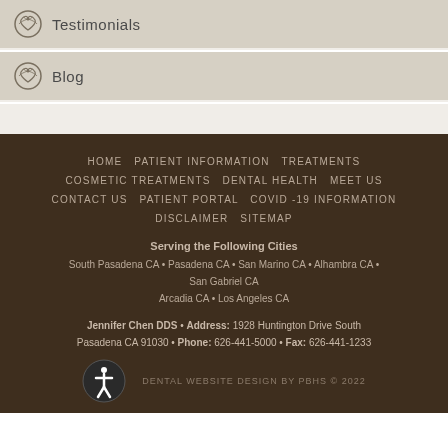Testimonials
Blog
HOME  PATIENT INFORMATION  TREATMENTS  COSMETIC TREATMENTS  DENTAL HEALTH  MEET US  CONTACT US  PATIENT PORTAL  COVID -19 INFORMATION  DISCLAIMER  SITEMAP

Serving the Following Cities
South Pasadena CA • Pasadena CA • San Marino CA • Alhambra CA • San Gabriel CA
Arcadia CA • Los Angeles CA

Jennifer Chen DDS • Address: 1928 Huntington Drive South Pasadena CA 91030 • Phone: 626-441-5000 • Fax: 626-441-1233

DENTAL WEBSITE DESIGN BY PBHS © 2022